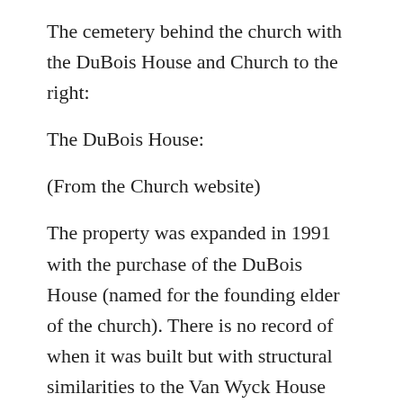The cemetery behind the church with the DuBois House and Church to the right:
The DuBois House:
(From the Church website)
The property was expanded in 1991 with the purchase of the DuBois House (named for the founding elder of the church). There is no record of when it was built but with structural similarities to the Van Wyck House made it believed to be built in the mid 1700's. Abraham Brinckerhoff Rapalje purchased the house with fifty-four acres of land from his uncle, Abraham Brinckerhoff in 1790. Rapalje was the man hired by the consistory to do finish work after the church was enlarged following the Revolution. The house served as the hearing room for the court proceedings of the Committee of Safety over which